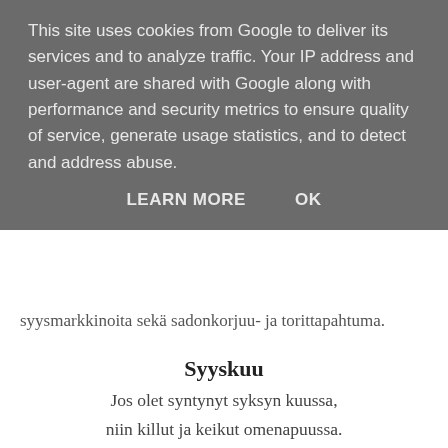This site uses cookies from Google to deliver its services and to analyze traffic. Your IP address and user-agent are shared with Google along with performance and security metrics to ensure quality of service, generate usage statistics, and to detect and address abuse.
LEARN MORE    OK
syysmarkkinoita sekä sadonkorjuu- ja torittapahtuma.
Syyskuu
Jos olet syntynyt syksyn kuussa,
niin killut ja keikut omenapuussa.
Poskillasi on ompun puna,
tuotapa katselen lumottuna.
Mitä sinä sanot, jos luoksesi laukkaan
ja punaista poskea haukkaan?
-Uppo Nalle-